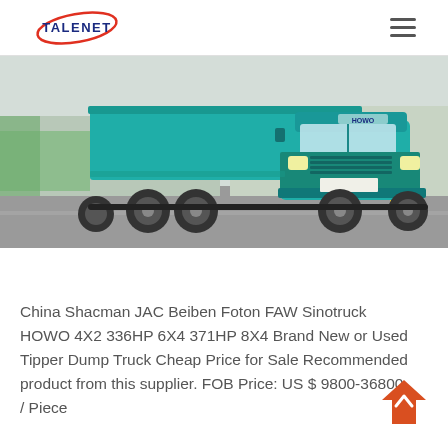TALENET
[Figure (photo): Front view of a teal/turquoise Sinotruck HOWO dump truck driving on a road, with greenery and a gate barrier visible in the background.]
China Shacman JAC Beiben Foton FAW Sinotruck HOWO 4X2 336HP 6X4 371HP 8X4 Brand New or Used Tipper Dump Truck Cheap Price for Sale Recommended product from this supplier. FOB Price: US $ 9800-36800 / Piece